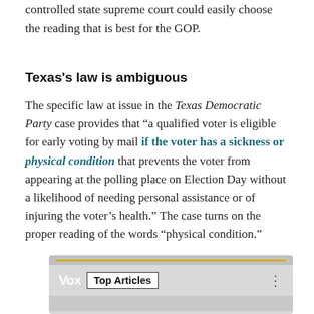controlled state supreme court could easily choose the reading that is best for the GOP.
Texas's law is ambiguous
The specific law at issue in the Texas Democratic Party case provides that “a qualified voter is eligible for early voting by mail if the voter has a sickness or physical condition that prevents the voter from appearing at the polling place on Election Day without a likelihood of needing personal assistance or of injuring the voter’s health.” The case turns on the proper reading of the words “physical condition.”
[Figure (screenshot): Screenshot of a Vox Top Articles widget with grey background and a yellow top bar element.]